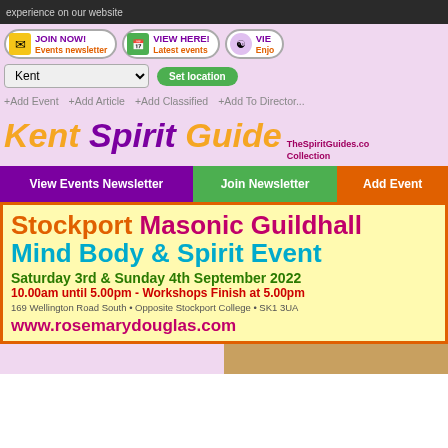experience on our website
[Figure (screenshot): Navigation buttons: JOIN NOW! Events newsletter, VIEW HERE! Latest events, VIE... Enjo...]
Kent
Set location
+Add Event   +Add Article   +Add Classified   +Add To Directory
Kent Spirit Guide  TheSpiritGuides.co Collection
View Events Newsletter   Join Newsletter   Add Event
[Figure (infographic): Event banner: Stockport Masonic Guildhall Mind Body & Spirit Event. Saturday 3rd & Sunday 4th September 2022. 10.00am until 5.00pm - Workshops Finish at 5.00pm. 169 Wellington Road South • Opposite Stockport College • SK1 3UA. www.rosemarydouglas.com]
[Figure (photo): Bottom strip with pink and desert/tan colored sections]